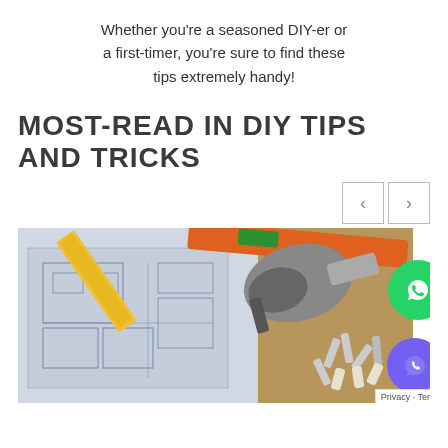Whether you're a seasoned DIY-er or a first-timer, you're sure to find these tips extremely handy!
MOST-READ IN DIY TIPS AND TRICKS
[Figure (photo): Photo of construction blueprints, a tape measure, power drill, screws, wall plugs, and tools on a wooden surface]
Privacy · Terms